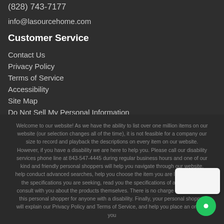(828) 743-7177
info@lasourcehome.com
Customer Service
Contact Us
Privacy Policy
Terms of Service
Accessibility
Site Map
Do Not Sell My Personal Information
Welcome to our website! As we have the ability to list over one million items on our website (our selection changes all of the time), it is not feasible for a company our size to record and playback the descriptions on every item on our website. However, if you have a disability we are here to help you. Please call our disability services phone line at 843-547-4445 during regular business hours and one of our kind and friendly personal shoppers will help you navigate through our website, help conduct advanced searches, help you choose the item you are looking for with the specifications you are seeking, read you the specifications of any item and consult with you about the products themselves. There is no charge for the help of this personal shopper for anyone with a disability. Finally, your personal shopper will explain our Privacy Policy and Terms of Service, and help you place an order if you